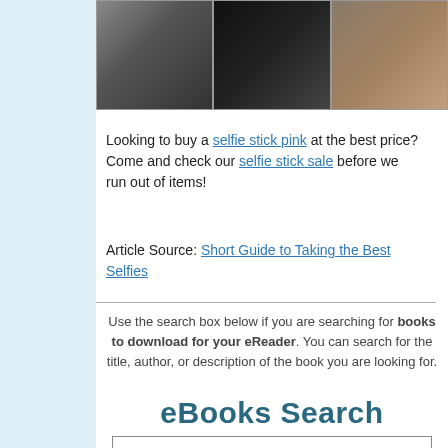[Figure (photo): Three photos side by side: person sitting on steps, hand holding cigarette with smoke, close-up of a cat's face]
Looking to buy a selfie stick pink at the best price? Come and check our selfie stick sale before we run out of items!
Article Source: Short Guide to Taking the Best Selfies
Use the search box below if you are searching for books to download for your eReader. You can search for the title, author, or description of the book you are looking for.
eBooks Search